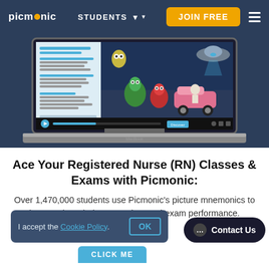picmonic  STUDENTS  JOIN FREE
[Figure (screenshot): Laptop mockup showing the Picmonic learning interface with a video player. Left panel shows text/chapter list with blue highlighted lines. Right panel shows colorful illustrated cartoon characters for mnemonic learning. Bottom has a playback control bar with a blue play button and progress bar.]
Ace Your Registered Nurse (RN) Classes & Exams with Picmonic:
Over 1,470,000 students use Picmonic's picture mnemonics to improve knowledge, retention, and exam performance.
I accept the Cookie Policy.  OK
CLICK ME
Contact Us